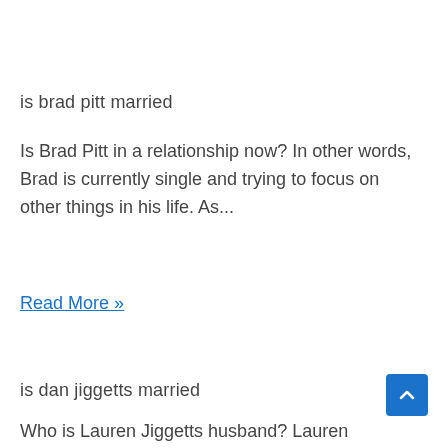is brad pitt married
Is Brad Pitt in a relationship now? In other words, Brad is currently single and trying to focus on other things in his life. As...
Read More »
is dan jiggetts married
Who is Lauren Jiggetts husband? Lauren